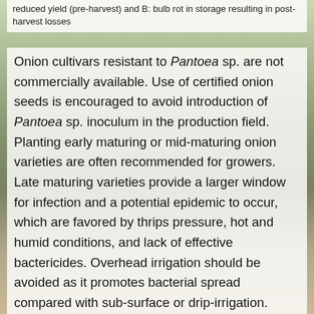reduced yield (pre-harvest) and B: bulb rot in storage resulting in post-harvest losses
Onion cultivars resistant to Pantoea sp. are not commercially available. Use of certified onion seeds is encouraged to avoid introduction of Pantoea sp. inoculum in the production field. Planting early maturing or mid-maturing onion varieties are often recommended for growers. Late maturing varieties provide a larger window for infection and a potential epidemic to occur, which are favored by thrips pressure, hot and humid conditions, and lack of effective bactericides. Overhead irrigation should be avoided as it promotes bacterial spread compared with sub-surface or drip-irrigation. Controlling thrips population can be an effective management strategy to reduce center rot incidence as these vectors play an important role in bacterial transmission. Center rot management in onion fields relies heavily on copper applications mixed with an ethylenebisdithiocarbamate fungicide (EBDC), such as